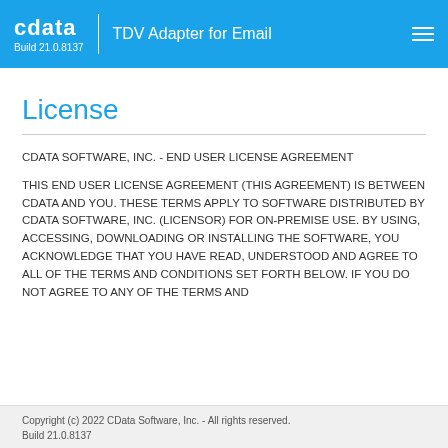cdata | TDV Adapter for Email — Build 21.0.8137
License
CDATA SOFTWARE, INC. - END USER LICENSE AGREEMENT
THIS END USER LICENSE AGREEMENT (THIS AGREEMENT) IS BETWEEN CDATA AND YOU. THESE TERMS APPLY TO SOFTWARE DISTRIBUTED BY CDATA SOFTWARE, INC. (LICENSOR) FOR ON-PREMISE USE. BY USING, ACCESSING, DOWNLOADING OR INSTALLING THE SOFTWARE, YOU ACKNOWLEDGE THAT YOU HAVE READ, UNDERSTOOD AND AGREE TO ALL OF THE TERMS AND CONDITIONS SET FORTH BELOW. IF YOU DO NOT AGREE TO ANY OF THE TERMS AND
Copyright (c) 2022 CData Software, Inc. - All rights reserved.
Build 21.0.8137